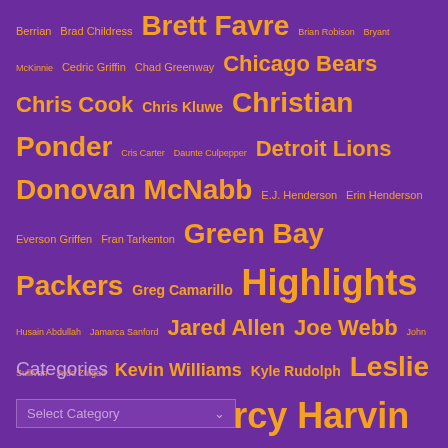[Figure (infographic): Tag cloud of Minnesota Vikings-related names and topics displayed in orange text on purple background, with varying font sizes indicating frequency/importance. Tags include: Berrian, Brad Childress, Brett Favre, Brian Robison, Bryant McKinnie, Cedric Griffin, Chad Greenway, Chicago Bears, Chris Cook, Chris Kluwe, Christian Ponder, Cris Carter, Daunte Culpepper, Detroit Lions, Donovan McNabb, E.J. Henderson, Erin Henderson, Everson Griffen, Fran Tarkenton, Green Bay Packers, Greg Camarillo, Highlights, Husain Abdullah, Jamarca Sanford, Jared Allen, Joe Webb, John Sullivan, Judd Zulgad, Kevin Williams, Kyle Rudolph, Leslie Frazier, NFL Draft, Percy Harvin, Randy Moss, Ray Edwards, Sidney Rice, Tarvaris Jackson, Toby Gerhart, Tyrell Johnson, Visanthe Shiancoe]
Categories
Select Category